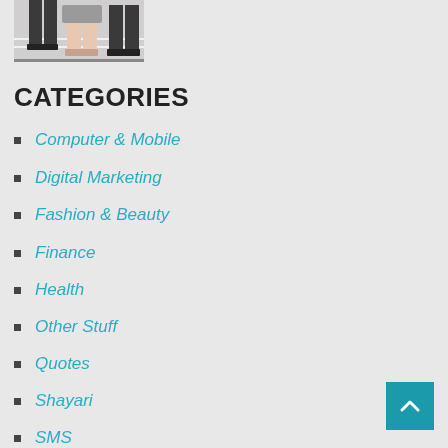[Figure (photo): Photo of two people walking on a runway or street, showing legs and shoes from the thigh down]
CATEGORIES
Computer & Mobile
Digital Marketing
Fashion & Beauty
Finance
Health
Other Stuff
Quotes
Shayari
SMS